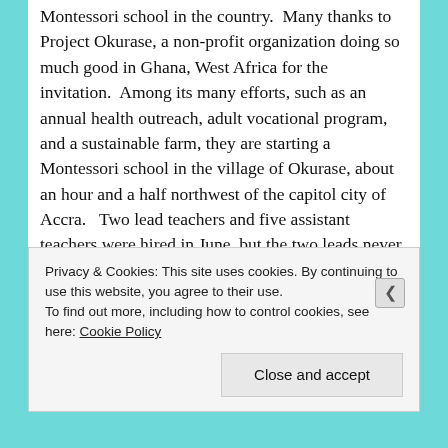Montessori school in the country.  Many thanks to Project Okurase, a non-profit organization doing so much good in Ghana, West Africa for the invitation.  Among its many efforts, such as an annual health outreach, adult vocational program, and a sustainable farm, they are starting a Montessori school in the village of Okurase, about an hour and a half northwest of the capitol city of Accra.   Two lead teachers and five assistant teachers were hired in June, but the two leads never showed up!  It became clear as I worked with the remaining five, that they were...
Privacy & Cookies: This site uses cookies. By continuing to use this website, you agree to their use. To find out more, including how to control cookies, see here: Cookie Policy
Close and accept